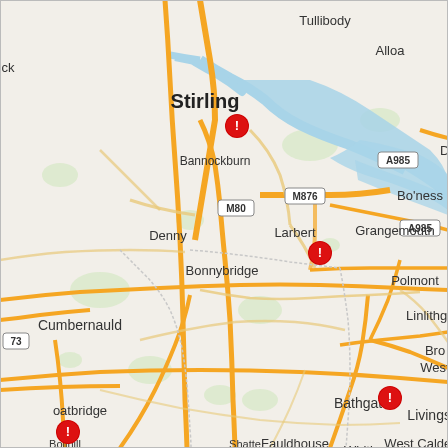[Figure (map): Road map of central Scotland showing cities and towns including Stirling, Bannockburn, Tullibody, Alloa, Denny, Larbert, Grangemouth, Bo'ness, Bonnybridge, Polmont, Linlithgow, Cumbernauld, Bathgate, Livingston, Whitburn, West Calder, Fauldhouse, Coatbridge, Falkirk area. Major roads M80, M876, A985 labeled. Four red alert/incident markers placed at: Stirling, Larbert, Bathgate/near Livingston, and Coatbridge. Map features rivers and water bodies shown in blue, green areas, and road network in orange/yellow.]